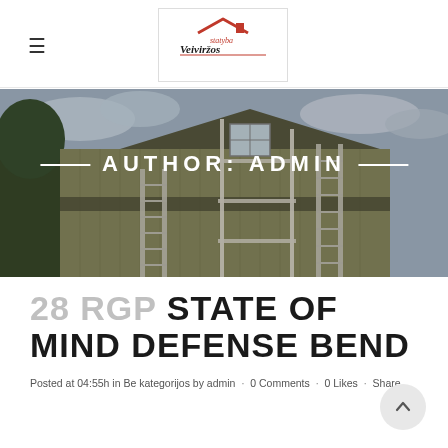[Figure (logo): Veiviržos statyba logo with a red house/roof icon and handwritten-style text]
[Figure (photo): Hero image showing a wooden house exterior with scaffolding and ladders against a cloudy sky background]
AUTHOR: ADMIN
28 RGP STATE OF MIND DEFENSE BEND
Posted at 04:55h in Be kategorijos by admin · 0 Comments · 0 Likes · Share